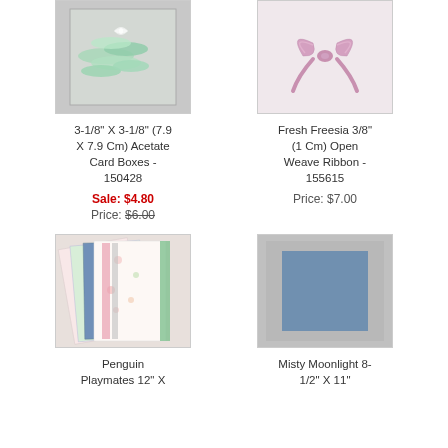[Figure (photo): Clear acetate card box with mint green shredded paper filler inside]
3-1/8" X 3-1/8" (7.9 X 7.9 Cm) Acetate Card Boxes - 150428
Sale: $4.80
Price: $6.00
[Figure (photo): Fresh Freesia lavender/purple ribbon tied in a bow on cream background]
Fresh Freesia 3/8" (1 Cm) Open Weave Ribbon - 155615
Price: $7.00
[Figure (photo): Penguin Playmates 12x12 patterned paper stack with floral and striped patterns]
Penguin Playmates 12" X
[Figure (photo): Misty Moonlight 8-1/2x11 cardstock - grey mat with blue cardstock rectangle]
Misty Moonlight 8-1/2" X 11"